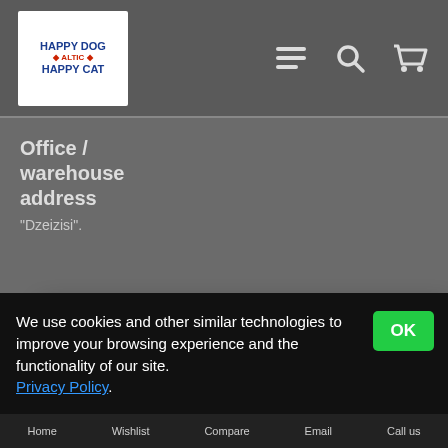[Figure (logo): Happy Dog Altic Happy Cat logo in white box]
[Figure (infographic): Header navigation icons: hamburger menu, search magnifier, shopping cart]
Office / warehouse address
"Dzeizisi".
All payment methods are available in our new e-shop, including online.
Don't show again.
We use cookies and other similar technologies to improve your browsing experience and the functionality of our site. Privacy Policy.
OK
Home   Wishlist   Compare   Email   Call us